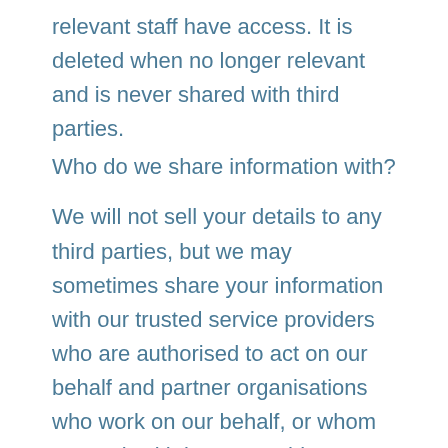relevant staff have access. It is deleted when no longer relevant and is never shared with third parties.
Who do we share information with?
We will not sell your details to any third parties, but we may sometimes share your information with our trusted service providers who are authorised to act on our behalf and partner organisations who work on our behalf, or whom we work with in partnership to deliver our projects. We may use companies to deliver services and process your data on our behalf, including the delivery of postal